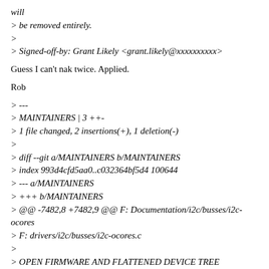will
> be removed entirely.
>
> Signed-off-by: Grant Likely <grant.likely@xxxxxxxxxx>
Guess I can't nak twice. Applied.
Rob
> ---
> MAINTAINERS | 3 ++-
> 1 file changed, 2 insertions(+), 1 deletion(-)
>
> diff --git a/MAINTAINERS b/MAINTAINERS
> index 993d4cfd5aa0..c032364bf5d4 100644
> --- a/MAINTAINERS
> +++ b/MAINTAINERS
> @@ -7482,8 +7482,9 @@ F: Documentation/i2c/busses/i2c-ocores
> F: drivers/i2c/busses/i2c-ocores.c
>
> OPEN FIRMWARE AND FLATTENED DEVICE TREE
> -M: Grant Likely <grant.likely@xxxxxxxxxx>
> M: Rob Herring <robh+dt@xxxxxxxxxx>
> +M: Frank Rowand <frowand.list@xxxxxxxxxx>